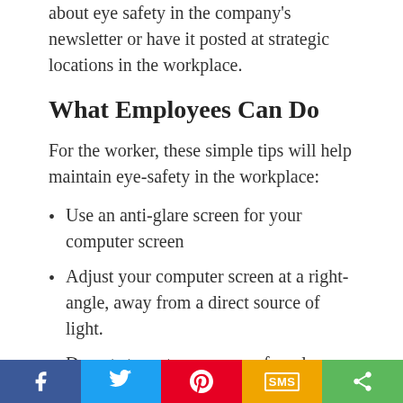about eye safety in the company's newsletter or have it posted at strategic locations in the workplace.
What Employees Can Do
For the worker, these simple tips will help maintain eye-safety in the workplace:
Use an anti-glare screen for your computer screen
Adjust your computer screen at a right-angle, away from a direct source of light.
Do not stare at your screen for a long time; take breaks off the screen every 20 minutes.
Over-the-counter artificial tears may be necessary, to prevent the eyes from